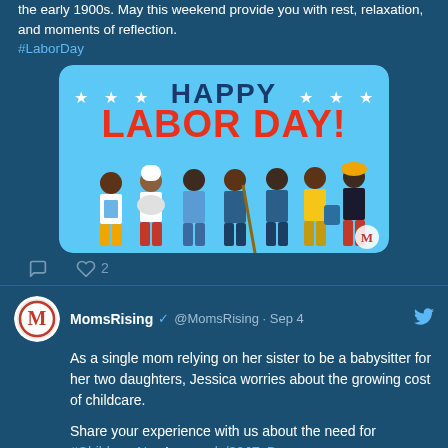the early 1900s. May this weekend provide you with rest, relaxation, and moments of reflection. #LaborDay
[Figure (illustration): Happy Labor Day illustration showing diverse workers on a blue background with stars]
2 likes
MomsRising @MomsRising · Sep 4
As a single mom relying on her sister to be a babysitter for her two daughters, Jessica worries about the growing cost of childcare.

Share your experience with us about the need for #ChildcareNow! moms.ly/39JFzBy
[Figure (infographic): #ChildcareNow banner in red/orange]